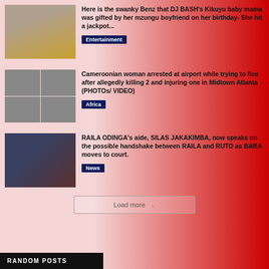[Figure (photo): Woman in yellow dress standing next to a black car]
Here is the swanky Benz that DJ BASH's Kikuyu baby mama was gifted by her mzungu boyfriend on her birthday- She hit a jackpot...
Entertainment
[Figure (photo): Grid of four photos of a Cameroonian woman and crime scene]
Cameroonian woman arrested at airport while trying to flee after allegedly killing 2 and injuring one in Midtown Atlanta (PHOTOs/ VIDEO)
Africa
[Figure (photo): Men in suits walking together]
RAILA ODINGA's aide, SILAS JAKAKIMBA, now speaks on the possible handshake between RAILA and RUTO as BABA moves to court.
News
Load more
Random Posts